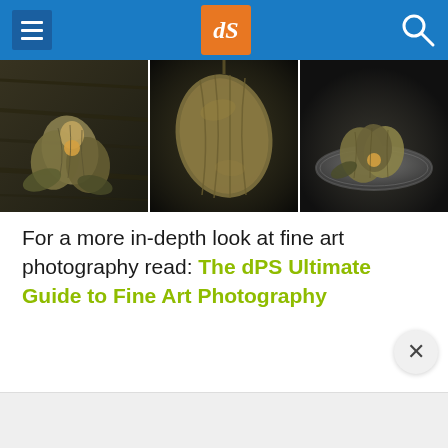dPS navigation header
[Figure (photo): Three dark-toned fine art photographs of husked physalis (cape gooseberries) arranged side by side: left image shows physalis on dark wood, center shows a close-up of opened husk, right shows physalis in a metal bowl on dark surface.]
For a more in-depth look at fine art photography read: The dPS Ultimate Guide to Fine Art Photography